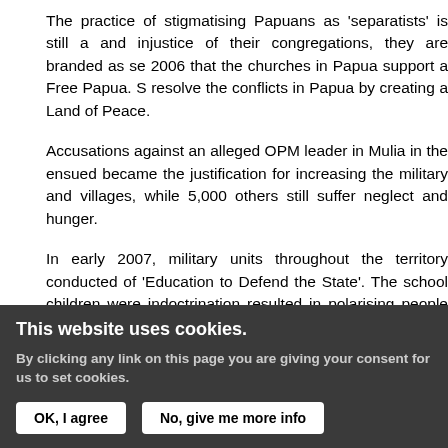The practice of stigmatising Papuans as 'separatists' is still a and injustice of their congregations, they are branded as se 2006 that the churches in Papua support a Free Papua. S resolve the conflicts in Papua by creating a Land of Peace.
Accusations against an alleged OPM leader in Mulia in the ensued became the justification for increasing the military and villages, while 5,000 others still suffer neglect and hunger.
In early 2007, military units throughout the territory conducted of 'Education to Defend the State'. The school children were indoctrination resulted in polarising people and making it easi The churches' report devotes a special section to the militar [See separate article - Military presence in Papua under OTSU
OTSUS finances questioned
Although a special regulation on sharing the funding allocate provision allotted funds to the churches but this was rescind Rp.100 million (approx. £5,500) for each kampung (village) in They say they are much better placed to handle these funds
This website uses cookies.
By clicking any link on this page you are giving your consent for us to set cookies.
OK, I agree    No, give me more info